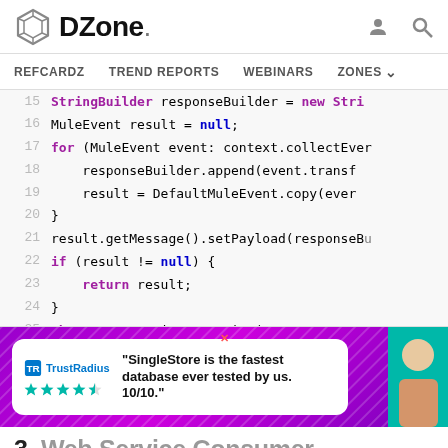DZone. Navigation: REFCARDZ | TREND REPORTS | WEBINARS | ZONES
[Figure (screenshot): Code snippet showing Java lines 15-27 with syntax highlighting, MuleEvent handling code]
[Figure (infographic): TrustRadius advertisement banner: SingleStore is the fastest database ever tested by us. 10/10.]
3. Web Service Consumer